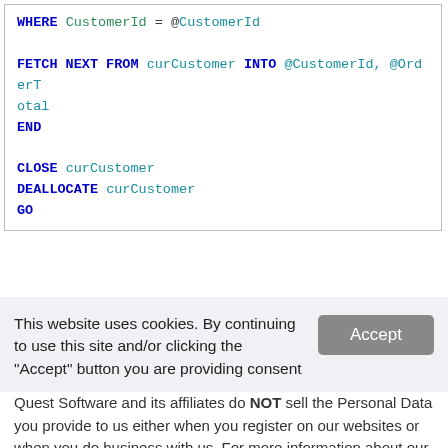WHERE CustomerId = @CustomerId

FETCH NEXT FROM curCustomer INTO @CustomerId, @OrderTotal
END

CLOSE curCustomer
DEALLOCATE curCustomer
GO
This website uses cookies. By continuing to use this site and/or clicking the "Accept" button you are providing consent
Quest Software and its affiliates do NOT sell the Personal Data you provide to us either when you register on our websites or when you do business with us. For more information about our Privacy Policy and our data protection efforts, please visit GDPR-HQ